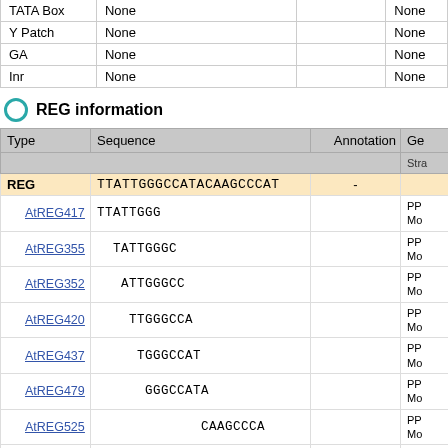| Type | Sequence | Annotation | Gen |
| --- | --- | --- | --- |
| TATA Box | None |  | None |
| Y Patch | None |  | None |
| GA | None |  | None |
| Inr | None |  | None |
REG information
| Type | Sequence | Annotation | Ge
Stra |
| --- | --- | --- | --- |
| REG | TTATTGGGCCATACAAGCCCAT |  | - |
| AtREG417 | TTATTGGG |  | PP Mo |
| AtREG355 | TATTGGGC |  | PP Mo |
| AtREG352 | ATTGGGCC |  | PP Mo |
| AtREG420 | TTGGGCCA |  | PP Mo |
| AtREG437 | TGGGCCAT |  | PP Mo |
| AtREG479 | GGGCCATA |  | PP Mo |
| AtREG525 | CAAGCCCA |  | PP Mo |
| AtREG378 | AAGCCCAT |  | PP Mo |
| REG | ATATGGGCTTAT |  | - |
|  | ATATGGG... |  | PP |